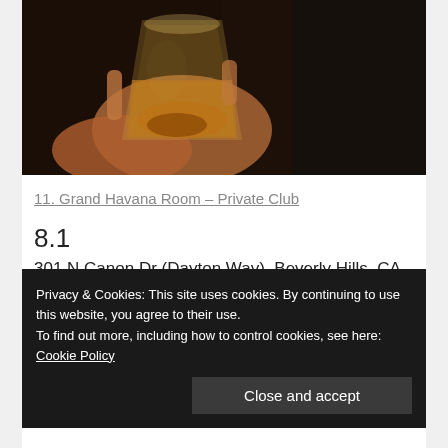[Figure (photo): A hand holding a whiskey glass with amber liquid, dark background, close-up shot]
11. Grand Havana Room – Private Club
8.1
301 N Canon Dr (Dayton Way), Beverly Hills, CA
Wine Bar · West Los Angeles · 3 tips and reviews
Privacy & Cookies: This site uses cookies. By continuing to use this website, you agree to their use.
To find out more, including how to control cookies, see here: Cookie Policy
Close and accept